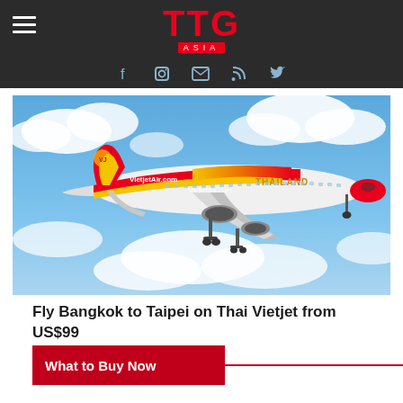TTG Asia
[Figure (photo): A Thai Vietjet Air Airbus A320 aircraft in red, yellow and white livery with THAILAND branding, flying against a blue sky with clouds, landing gear down on approach.]
Fly Bangkok to Taipei on Thai Vietjet from US$99
What to Buy Now